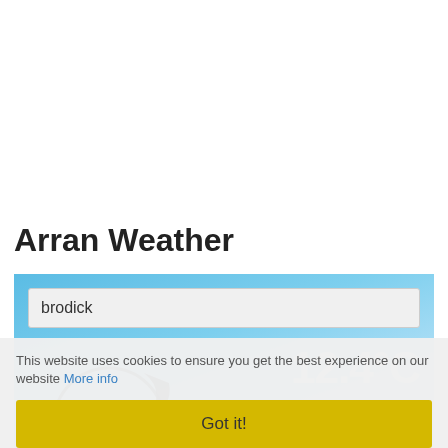Arran Weather
[Figure (screenshot): Weather widget showing a search box with 'brodick' typed in, a blue sky background, a weather icon (crescent moon over circle), and a temperature reading '12.4°C' partially visible]
This website uses cookies to ensure you get the best experience on our website More info
Got it!